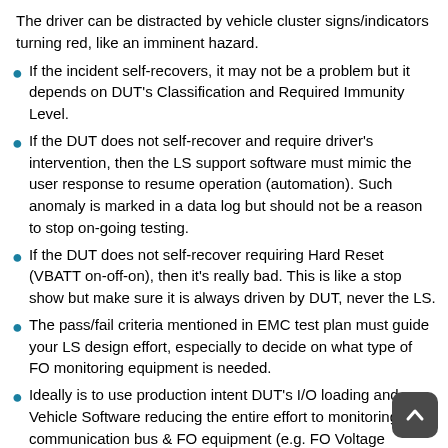The driver can be distracted by vehicle cluster signs/indicators turning red, like an imminent hazard.
If the incident self-recovers, it may not be a problem but it depends on DUT's Classification and Required Immunity Level.
If the DUT does not self-recover and require driver's intervention, then the LS support software must mimic the user response to resume operation (automation). Such anomaly is marked in a data log but should not be a reason to stop on-going testing.
If the DUT does not self-recover requiring Hard Reset (VBATT on-off-on), then it's really bad. This is like a stop show but make sure it is always driven by DUT, never the LS.
The pass/fail criteria mentioned in EMC test plan must guide your LS design effort, especially to decide on what type of FO monitoring equipment is needed.
Ideally is to use production intent DUT's I/O loading and Vehicle Software reducing the entire effort to monitoring the communication bus & FO equipment (e.g. FO Voltage Probes, FO Signal/Data Probe).
The moment you're forced to use excessive HW/SW simulation, you practically spend more time validating the Load